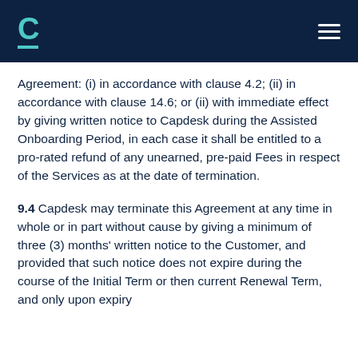C [logo] [hamburger menu]
Agreement: (i) in accordance with clause 4.2; (ii) in accordance with clause 14.6; or (ii) with immediate effect by giving written notice to Capdesk during the Assisted Onboarding Period, in each case it shall be entitled to a pro-rated refund of any unearned, pre-paid Fees in respect of the Services as at the date of termination.
9.4 Capdesk may terminate this Agreement at any time in whole or in part without cause by giving a minimum of three (3) months' written notice to the Customer, and provided that such notice does not expire during the course of the Initial Term or then current Renewal Term, and only upon expiry